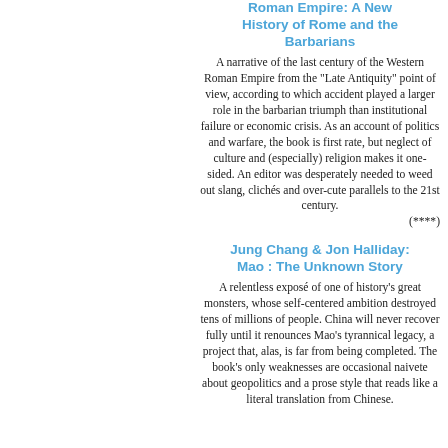Roman Empire: A New History of Rome and the Barbarians
A narrative of the last century of the Western Roman Empire from the "Late Antiquity" point of view, according to which accident played a larger role in the barbarian triumph than institutional failure or economic crisis. As an account of politics and warfare, the book is first rate, but neglect of culture and (especially) religion makes it one-sided. An editor was desperately needed to weed out slang, clichés and over-cute parallels to the 21st century. (****)
Jung Chang & Jon Halliday: Mao : The Unknown Story
A relentless exposé of one of history's great monsters, whose self-centered ambition destroyed tens of millions of people. China will never recover fully until it renounces Mao's tyrannical legacy, a project that, alas, is far from being completed. The book's only weaknesses are occasional naivete about geopolitics and a prose style that reads like a literal translation from Chinese.